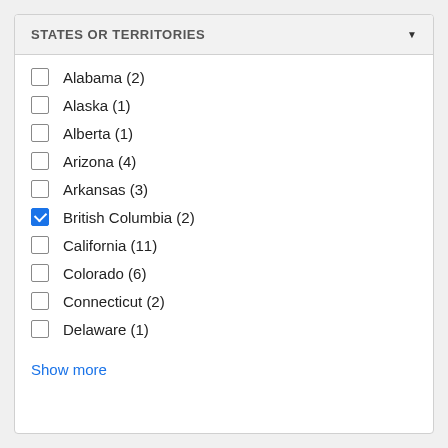STATES OR TERRITORIES
Alabama (2)
Alaska (1)
Alberta (1)
Arizona (4)
Arkansas (3)
British Columbia (2)
California (11)
Colorado (6)
Connecticut (2)
Delaware (1)
Show more